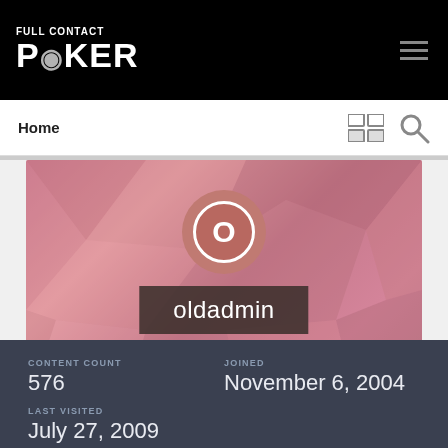FULL CONTACT POKER
Home
[Figure (illustration): User profile banner with polygonal pink/rose background, circular avatar with letter O, username oldadmin, and Members badge]
CONTENT COUNT
576
JOINED
November 6, 2004
LAST VISITED
July 27, 2009